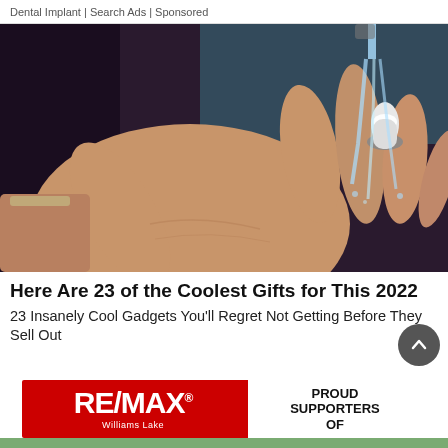Dental Implant | Search Ads | Sponsored
[Figure (photo): A hand with a finger ring-shaped soap dispenser gadget under running water from a faucet, set against a dark background]
Here Are 23 of the Coolest Gifts for This 2022
23 Insanely Cool Gadgets You'll Regret Not Getting Before They Sell Out
[Figure (logo): RE/MAX Williams Lake logo on red background with 'PROUD SUPPORTERS OF' text on right side]